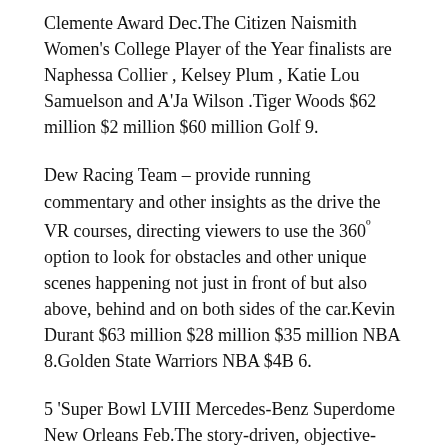Clemente Award Dec.The Citizen Naismith Women's College Player of the Year finalists are Naphessa Collier , Kelsey Plum , Katie Lou Samuelson and A'Ja Wilson .Tiger Woods $62 million $2 million $60 million Golf 9.
Dew Racing Team – provide running commentary and other insights as the drive the VR courses, directing viewers to use the 360º option to look for obstacles and other unique scenes happening not just in front of but also above, behind and on both sides of the car.Kevin Durant $63 million $28 million $35 million NBA 8.Golden State Warriors NBA $4B 6.
5 'Super Bowl LVIII Mercedes-Benz Superdome New Orleans Feb.The story-driven, objective-based '2K Showcase: The Women's Evolution' follows the careers of the Four Horsewomen: Raw Women's